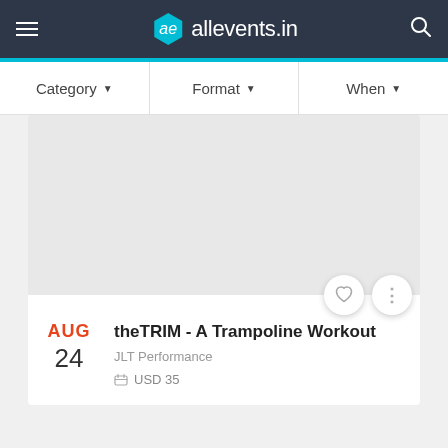allevents.in
Category ▾   Format ▾   When ▾
[Figure (other): Gray placeholder image area for event listing card]
theTRIM - A Trampoline Workout
JLT Performance
USD 35
AUG 24